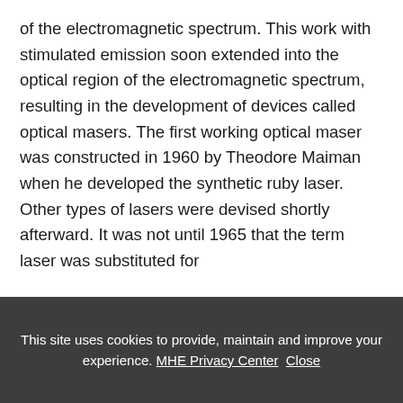of the electromagnetic spectrum. This work with stimulated emission soon extended into the optical region of the electromagnetic spectrum, resulting in the development of devices called optical masers. The first working optical maser was constructed in 1960 by Theodore Maiman when he developed the synthetic ruby laser. Other types of lasers were devised shortly afterward. It was not until 1965 that the term laser was substituted for
This site uses cookies to provide, maintain and improve your experience. MHE Privacy Center Close